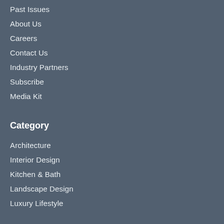Past Issues
About Us
Careers
Contact Us
Industry Partners
Subscribe
Media Kit
Category
Architecture
Interior Design
Kitchen & Bath
Landscape Design
Luxury Lifestyle